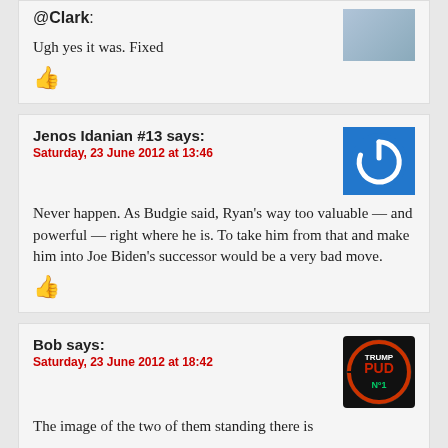@Clark: Ugh yes it was. Fixed
Jenos Idanian #13 says: Saturday, 23 June 2012 at 13:46
Never happen. As Budgie said, Ryan's way too valuable — and powerful — right where he is. To take him from that and make him into Joe Biden's successor would be a very bad move.
Bob says: Saturday, 23 June 2012 at 18:42
The image of the two of them standing there is